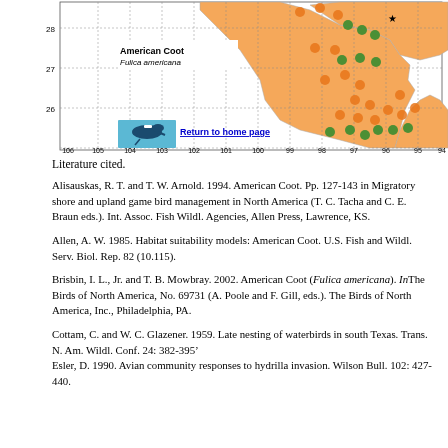[Figure (map): Map of American Coot (Fulica americana) distribution in what appears to be Texas and surrounding region, showing orange and green dot markers indicating bird sightings. Map includes latitude/longitude grid lines, labeled coordinates (28, 27, 26 for latitude; 106-94 for longitude). Contains an inset bird photo and 'Return to home page' link text. Land area shown in orange/tan color.]
Literature cited.
Alisauskas, R. T. and T. W. Arnold. 1994. American Coot. Pp. 127-143 in Migratory shore and upland game bird management in North America (T. C. Tacha and C. E. Braun eds.). Int. Assoc. Fish Wildl. Agencies, Allen Press, Lawrence, KS.
Allen, A. W. 1985. Habitat suitability models: American Coot. U.S. Fish and Wildl. Serv. Biol. Rep. 82 (10.115).
Brisbin, I. L., Jr. and T. B. Mowbray. 2002. American Coot (Fulica americana). InThe Birds of North America, No. 69731 (A. Poole and F. Gill, eds.). The Birds of North America, Inc., Philadelphia, PA.
Cottam, C. and W. C. Glazener. 1959. Late nesting of waterbirds in south Texas. Trans. N. Am. Wildl. Conf. 24: 382-395’ Esler, D. 1990. Avian community responses to hydrilla invasion. Wilson Bull. 102: 427-440.